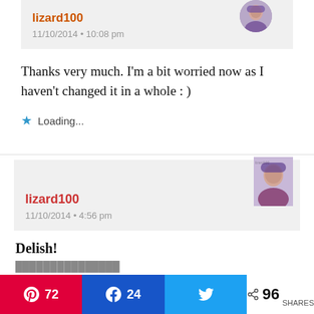lizard100
11/10/2014 • 10:08 pm
Thanks very much. I'm a bit worried now as I haven't changed it in a whole : )
Loading...
lizard100
11/10/2014 • 4:56 pm
Delish!
72
24
96 SHARES